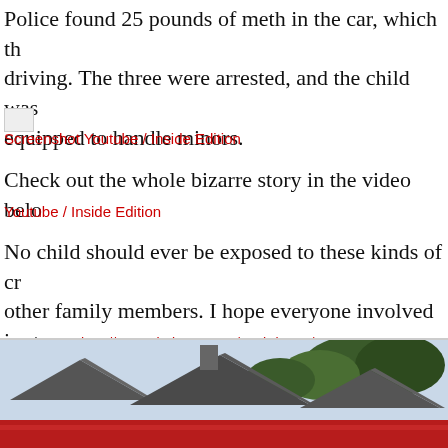Police found 25 pounds of meth in the car, which they were driving. The three were arrested, and the child was equipped to handle minors.
[Figure (screenshot): Broken image placeholder (screenshot thumbnail)]
Screenshot Youtube / Inside Edition
Check out the whole bizarre story in the video below
Youtube / Inside Edition
No child should ever be exposed to these kinds of cr... other family members. I hope everyone involved is... that the child is given resources for rehabilitation.
Read more: http://www.viralnova.com/meth-in-car/
[Figure (photo): Outdoor photo showing rooftops and trees, with a red car visible at the bottom]